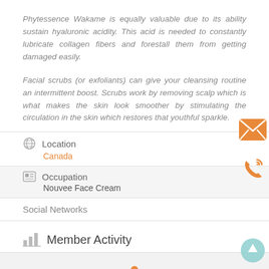Phytessence Wakame is equally valuable due to its ability sustain hyaluronic acidity. This acid is needed to constantly lubricate collagen fibers and forestall them from getting damaged easily.
Facial scrubs (or exfoliants) can give your cleansing routine an intermittent boost. Scrubs work by removing scalp which is what makes the skin look smoother by stimulating the circulation in the skin which restores that youthful sparkle.
Location
Canada
Occupation
Nouvee Face Cream
Social Networks
Member Activity
[Figure (other): Orange envelope icon on right side]
[Figure (other): Orange phone icon on right side]
[Figure (other): Teal scroll-to-top button bottom right]